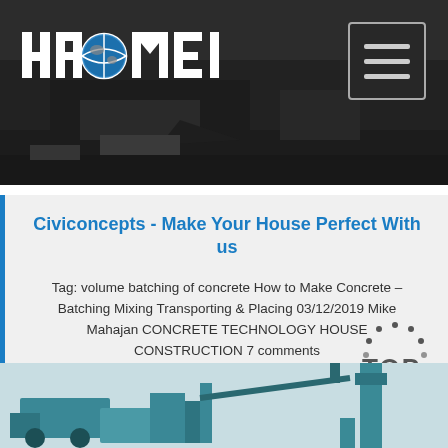[Figure (screenshot): Dark hero banner image showing industrial machinery/concrete mixing equipment with HAOMEI logo on the left and hamburger menu icon on the right]
Civiconcepts - Make Your House Perfect With us
Tag: volume batching of concrete How to Make Concrete – Batching Mixing Transporting & Placing 03/12/2019 Mike Mahajan CONCRETE TECHNOLOGY HOUSE CONSTRUCTION 7 comments
Get Price
[Figure (photo): Bottom portion showing industrial concrete batching/mixing plant equipment in teal/blue colors against a light sky background]